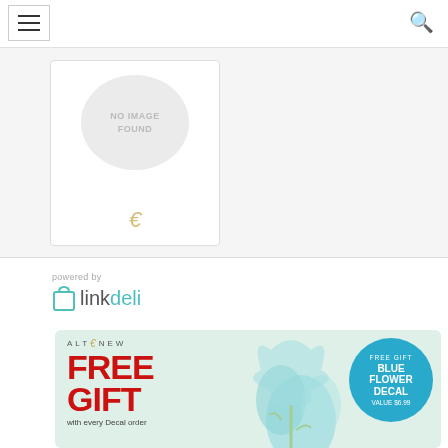[Figure (screenshot): Navigation bar with hamburger menu icon and search icon]
[Figure (screenshot): Product card with 'NO IMAGE FOUND' placeholder and small Altenew brand logo]
powered by
[Figure (logo): linkdeli logo with teal shopping bag icon and text 'linkdeli']
[Figure (infographic): Altenew advertisement banner: FREE GIFT with every Decal order, Blue Flower Decal value $6.99, with teal circle badge and floral illustration]